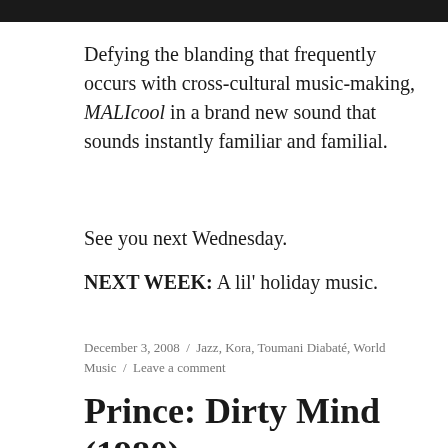[Figure (other): Black horizontal bar at the top of the page]
Defying the blanding that frequently occurs with cross-cultural music-making, MALIcool in a brand new sound that sounds instantly familiar and familial.
See you next Wednesday.
NEXT WEEK: A lil' holiday music.
December 3, 2008 / Jazz, Kora, Toumani Diabaté, World Music / Leave a comment
Prince: Dirty Mind (1980)